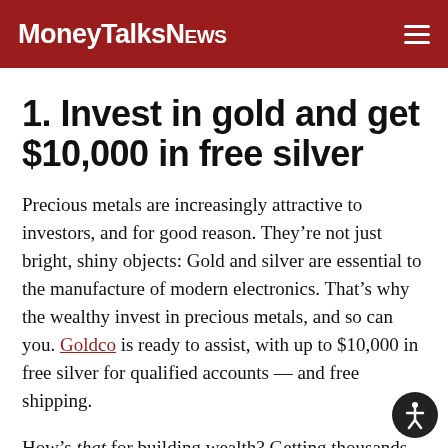MoneyTalksNews
1. Invest in gold and get $10,000 in free silver
Precious metals are increasingly attractive to investors, and for good reason. They’re not just bright, shiny objects: Gold and silver are essential to the manufacture of modern electronics. That’s why the wealthy invest in precious metals, and so can you. Goldco is ready to assist, with up to $10,000 in free silver for qualified accounts — and free shipping.
How’s that for building wealth? Getting thousands of free silver right up front! No wonder Goldco is th…